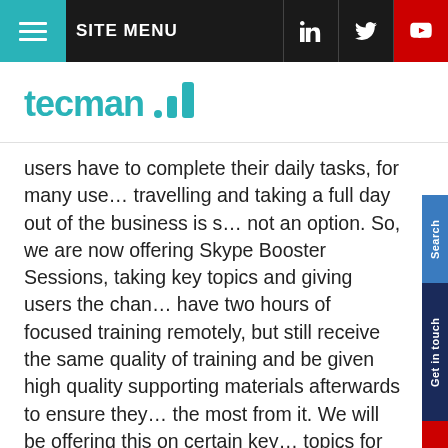SITE MENU
[Figure (logo): Tecman logo with teal bar chart icon and 'tecman' wordmark]
users have to complete their daily tasks, for many users travelling and taking a full day out of the business is simply not an option. So, we are now offering Skype Booster Sessions, taking key topics and giving users the chance to have two hours of focused training remotely, but still receive the same quality of training and be given high quality supporting materials afterwards to ensure they get the most from it. We will be offering this on certain key topics for Dynamics NAV users like managing users and permissions and using workflows for approvals and then rolling out more soon.
We want to be even more flexible and meet all your training needs, but we need your input. Tell us what areas you think we should be covering and how you prefer it to